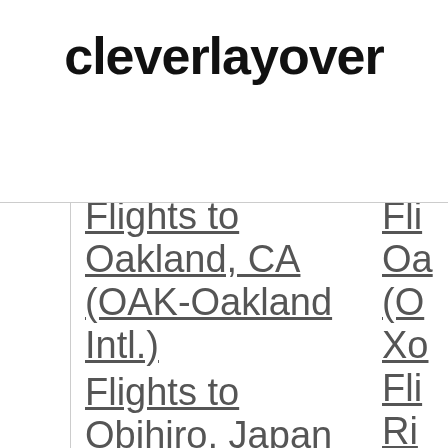cleverlayover
Flights to Oakland, CA (OAK-Oakland Intl.)
Flights to Obihiro, Japan
Fli... Oa... (O... Xo... Fli... Ri...